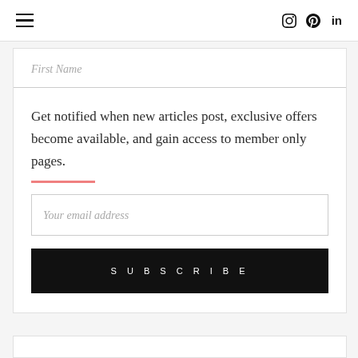≡  [instagram] [pinterest] in
First Name
Get notified when new articles post, exclusive offers become available, and gain access to member only pages.
Your email address
SUBSCRIBE